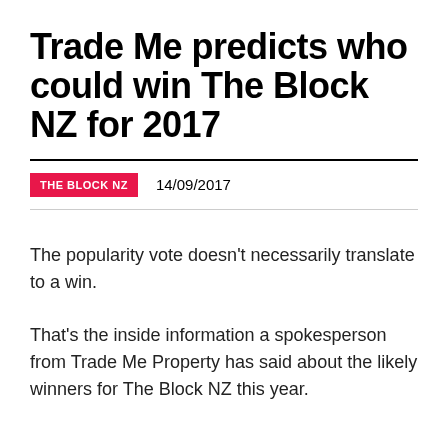Trade Me predicts who could win The Block NZ for 2017
THE BLOCK NZ   14/09/2017
The popularity vote doesn't necessarily translate to a win.
That's the inside information a spokesperson from Trade Me Property has said about the likely winners for The Block NZ this year.